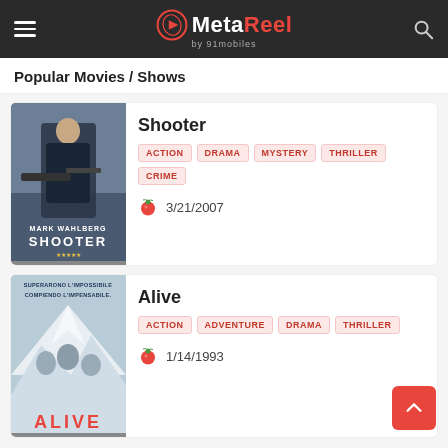MetaReel by 91mobiles
Popular Movies / Shows
[Figure (photo): Movie poster for Shooter featuring Mark Wahlberg holding a sniper rifle]
Shooter
ACTION  DRAMA  MYSTERY  THRILLER  CRIME
3/21/2007
[Figure (photo): Movie poster for Alive with text Superarono l'impossibile compiendo l'impensabile over snowy mountain background]
Alive
ACTION  ADVENTURE  DRAMA  THRILLER
1/14/1993